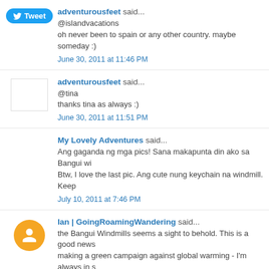adventurousfeet said...
@islandvacations
oh never been to spain or any other country. maybe someday :)
June 30, 2011 at 11:46 PM
adventurousfeet said...
@tina
thanks tina as always :)
June 30, 2011 at 11:51 PM
My Lovely Adventures said...
Ang gaganda ng mga pics! Sana makapunta din ako sa Bangui wi...
Btw, I love the last pic. Ang cute nung keychain na windmill. Keep...
July 10, 2011 at 7:46 PM
Ian | GoingRoamingWandering said...
the Bangui Windmills seems a sight to behold. This is a good news...
making a green campaign against global warming - I'm always in s...
July 12, 2011 at 12:07 PM